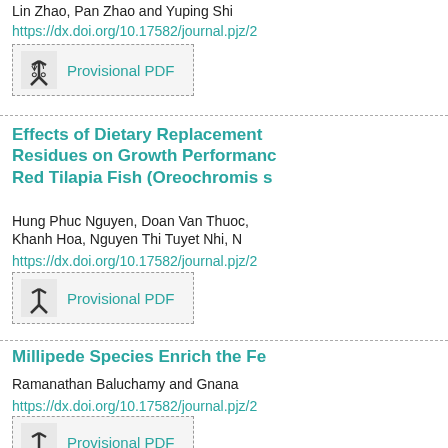Lin Zhao, Pan Zhao and Yuping Shi
https://dx.doi.org/10.17582/journal.pjz/2
[Figure (other): Provisional PDF button with acrobat icon]
Effects of Dietary Replacement Residues on Growth Performance Red Tilapia Fish (Oreochromis s
Hung Phuc Nguyen, Doan Van Thuoc, Khanh Hoa, Nguyen Thi Tuyet Nhi, N
https://dx.doi.org/10.17582/journal.pjz/2
[Figure (other): Provisional PDF button with acrobat icon]
Millipede Species Enrich the Fe
Ramanathan Baluchamy and Gnana
https://dx.doi.org/10.17582/journal.pjz/2
[Figure (other): Provisional PDF button with acrobat icon]
Dolo Doel Hollo 41 blot l C